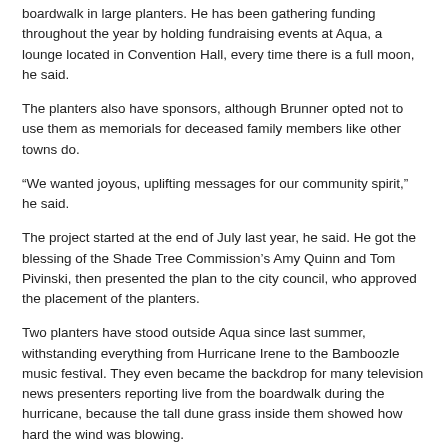boardwalk in large planters. He has been gathering funding throughout the year by holding fundraising events at Aqua, a lounge located in Convention Hall, every time there is a full moon, he said.
The planters also have sponsors, although Brunner opted not to use them as memorials for deceased family members like other towns do.
“We wanted joyous, uplifting messages for our community spirit,” he said.
The project started at the end of July last year, he said. He got the blessing of the Shade Tree Commission’s Amy Quinn and Tom Pivinski, then presented the plan to the city council, who approved the placement of the planters.
Two planters have stood outside Aqua since last summer, withstanding everything from Hurricane Irene to the Bamboozle music festival. They even became the backdrop for many television news presenters reporting live from the boardwalk during the hurricane, because the tall dune grass inside them showed how hard the wind was blowing.
The APBP’s next project will involve “the natural elements of the beach and what they have to offer,” although Brunner declined to elaborate further.